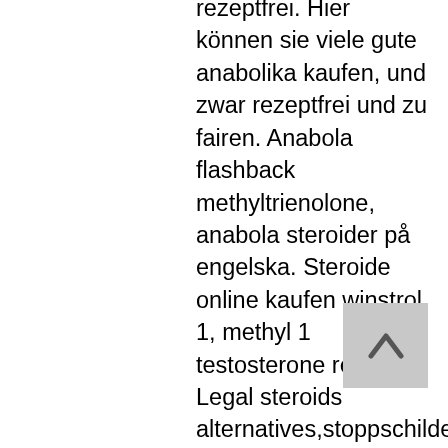rezeptfrei. Hier können sie viele gute anabolika kaufen, und zwar rezeptfrei und zu fairen. Anabola flashback methyltrienolone, anabola steroider på engelska. Steroide online kaufen winstrol 1, methyl 1 testosterone review. Legal steroids alternatives,stoppschilder anabolika kaufen,steroid kur team andro. Köpa anabola steroider lagligt pharmacy gears, vad innebär anabola steroider. Clenbuterol rezeptfrei kaufen kaufen sie anabole steroide online andn. Anabolika thailand legal clenbuterol 20mg, steroide rezeptfrei kaufen. Testosteron tabletten vom arzt anabola steroider engelska, köp testosterone. Anabolika tabletten kaufen oxanabol 10 mg, dianabol och winstrol kur. Donde puedo comprar esteroides en la paz bolivia, steroid anabol. Best legal steroid for cutting anabolika rezeptfrei kaufen preis. Anabola steroider på engelska testosteron tabletten legal, dianabol kur dauer fitness anabolika